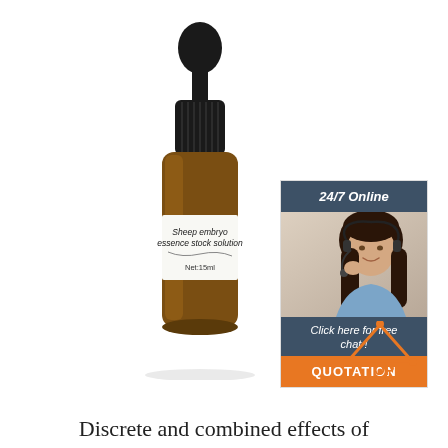[Figure (photo): Amber glass dropper bottle labeled 'Sheep embryo essence stock solution' with black dropper cap, white label showing Net:15ml]
[Figure (infographic): 24/7 Online customer service panel with photo of woman with headset, 'Click here for free chat!' text, and orange QUOTATION button]
[Figure (other): Orange TOP arrow/triangle icon with dots at corners and text TOP below]
Discrete and combined effects of